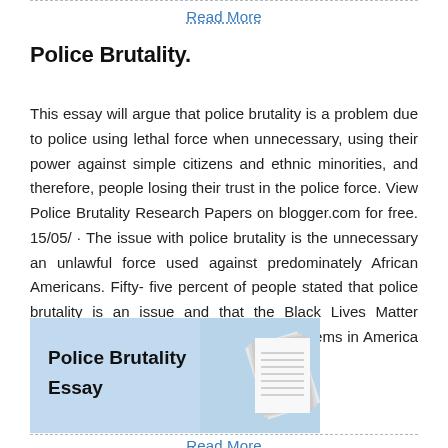Read More
Police Brutality.
This essay will argue that police brutality is a problem due to police using lethal force when unnecessary, using their power against simple citizens and ethnic minorities, and therefore, people losing their trust in the police force. View Police Brutality Research Papers on blogger.com for free. 15/05/ · The issue with police brutality is the unnecessary an unlawful force used against predominately African Americans. Fifty- five percent of people stated that police brutality is an issue and that the Black Lives Matter Movement is trying to fix the societal problems in America (Is Police Brutality a /5(21).
[Figure (illustration): Light blue banner image with bold text 'Police Brutality Essay' on the left and a stack of papers/books on the right side]
Read More